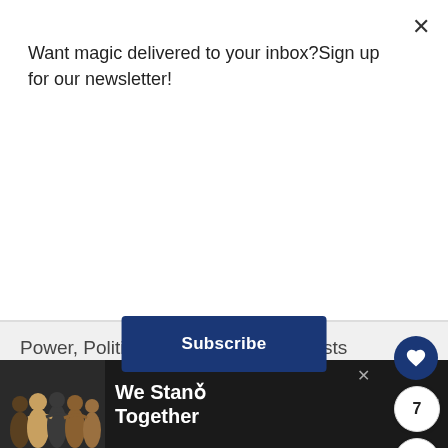Want magic delivered to your inbox?Sign up for our newsletter!
Subscribe
Power, Politics, and Pesky Poltergeists
2016
Harry's first potions class, where he loses 5 points for Gryffindor
1991
Wed, Sep 7
Dumbledore shows Harry his first Tom Riddl related memory: Bob Ogden's visit to the
[Figure (photo): We Stand Together advertisement with group of people hugging, seen from behind]
We Stand Together